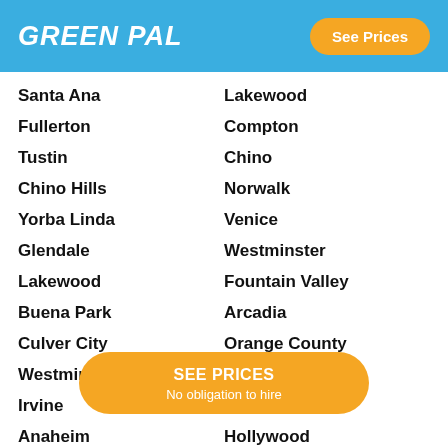GREENPAL | See Prices
Santa Ana
Lakewood
Fullerton
Compton
Tustin
Chino
Chino Hills
Norwalk
Yorba Linda
Venice
Glendale
Westminster
Lakewood
Fountain Valley
Buena Park
Arcadia
Culver City
Orange County
Westminster
Carson
Irvine
Hawthorne
Anaheim
Hollywood
Lynwood
Diamond Bar
South Gate
Huntington Beach
SEE PRICES
No obligation to hire